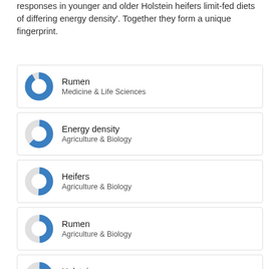responses in younger and older Holstein heifers limit-fed diets of differing energy density'. Together they form a unique fingerprint.
[Figure (infographic): Fingerprint keyword card: Rumen, Medicine & Life Sciences, ~95% filled donut chart in blue]
[Figure (infographic): Fingerprint keyword card: Energy density, Agriculture & Biology, ~60% filled donut chart in blue]
[Figure (infographic): Fingerprint keyword card: Heifers, Agriculture & Biology, ~50% filled donut chart in blue]
[Figure (infographic): Fingerprint keyword card: Rumen, Agriculture & Biology, ~50% filled donut chart in blue]
[Figure (infographic): Fingerprint keyword card: Holstein, Agriculture & Biology, ~45% filled donut chart in blue]
[Figure (infographic): Fingerprint keyword card: Diet (partially visible at bottom)]